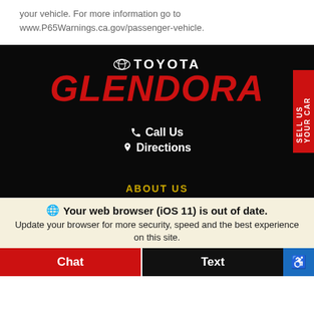your vehicle. For more information go to www.P65Warnings.ca.gov/passenger-vehicle.
[Figure (logo): Toyota Glendora dealership logo on black background — Toyota emblem with 'TOYOTA' in white and 'GLENDORA' in large red italic bold text]
Call Us
Directions
ABOUT US
SELL US YOUR CAR
Your web browser (iOS 11) is out of date. Update your browser for more security, speed and the best experience on this site.
Chat
Text